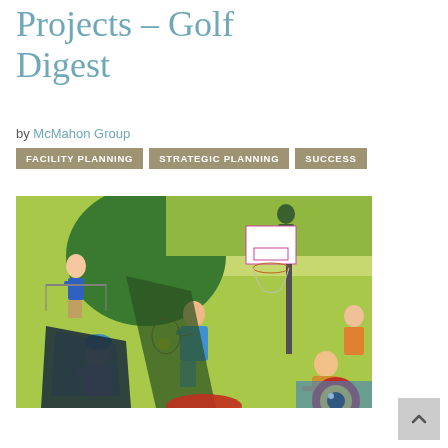Projects – Golf Digest
by McMahon Group
FACILITY PLANNING
STRATEGIC PLANNING
SUCCESS
[Figure (illustration): Colorful mural-style illustration depicting people playing various sports including tennis, basketball, golf, and other activities in a vibrant outdoor setting with green background.]